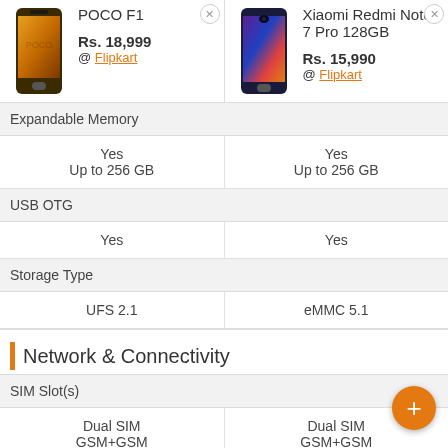| POCO F1 | Xiaomi Redmi Note 7 Pro 128GB |
| --- | --- |
| Rs. 18,999
@ Flipkart | Rs. 15,990
@ Flipkart |
| Expandable Memory |  |
| Yes
Up to 256 GB | Yes
Up to 256 GB |
| USB OTG |  |
| Yes | Yes |
| Storage Type |  |
| UFS 2.1 | eMMC 5.1 |
| Network & Connectivity |  |
| SIM Slot(s) |  |
| Dual SIM
GSM+GSM | Dual SIM
GSM+GSM |